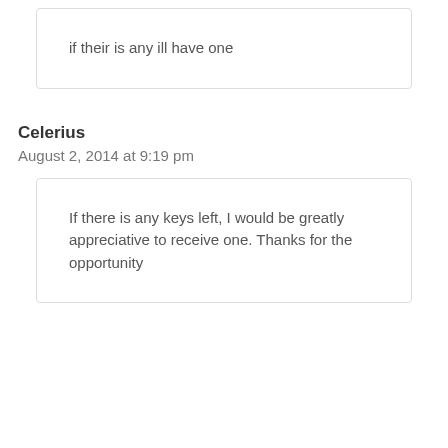if their is any ill have one
Celerius
August 2, 2014 at 9:19 pm
If there is any keys left, I would be greatly appreciative to receive one. Thanks for the opportunity